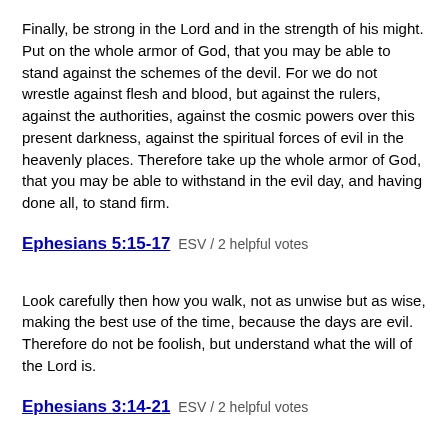Finally, be strong in the Lord and in the strength of his might. Put on the whole armor of God, that you may be able to stand against the schemes of the devil. For we do not wrestle against flesh and blood, but against the rulers, against the authorities, against the cosmic powers over this present darkness, against the spiritual forces of evil in the heavenly places. Therefore take up the whole armor of God, that you may be able to withstand in the evil day, and having done all, to stand firm.
Ephesians 5:15-17 ESV / 2 helpful votes
Look carefully then how you walk, not as unwise but as wise, making the best use of the time, because the days are evil. Therefore do not be foolish, but understand what the will of the Lord is.
Ephesians 3:14-21 ESV / 2 helpful votes
For this reason I bow my knees before the Father, from whom every family in heaven and on earth is named, that according to the riches of his glory he may grant you